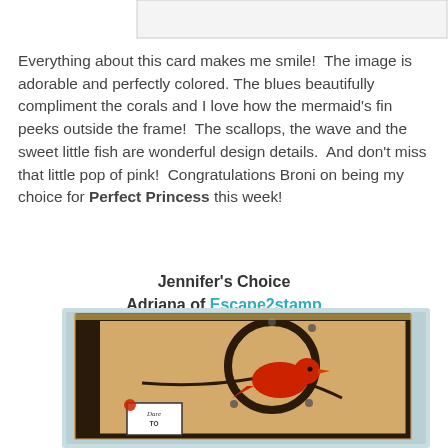[Figure (photo): Top portion of a card craft image, partially cropped at the top of the page]
Everything about this card makes me smile!  The image is adorable and perfectly colored. The blues beautifully compliment the corals and I love how the mermaid's fin peeks outside the frame!  The scallops, the wave and the sweet little fish are wonderful design details.  And don't miss that little pop of pink!  Congratulations Broni on being my choice for Perfect Princess this week!
Jennifer's Choice
Adriana of Escape2stamp
[Figure (photo): Craft card featuring a red bird on a branch inside a circular design on a tan scallop-patterned background with dark borders, text reading 'DARE TO' at the bottom]